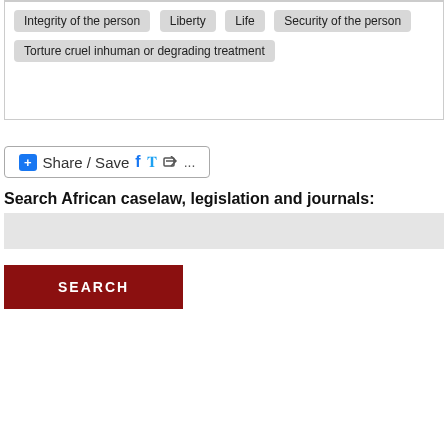Integrity of the person | Liberty | Life | Security of the person | Torture cruel inhuman or degrading treatment
[Figure (other): Share / Save button with Facebook, Twitter and share icons]
Search African caselaw, legislation and journals:
[Figure (other): Search input field]
[Figure (other): SEARCH button]